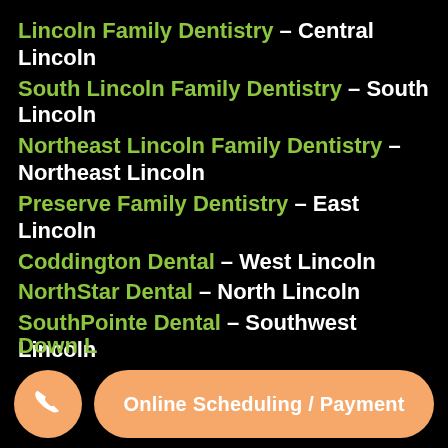Lincoln Family Dentistry – Central Lincoln
South Lincoln Family Dentistry – South Lincoln
Northeast Lincoln Family Dentistry – Northeast Lincoln
Preserve Family Dentistry – East Lincoln
Coddington Dental – West Lincoln
NorthStar Dental – North Lincoln
SouthPointe Dental – Southwest Lincoln
Emergency Dentist NE – Emergency Dental Care
Online Scheduling / Payment